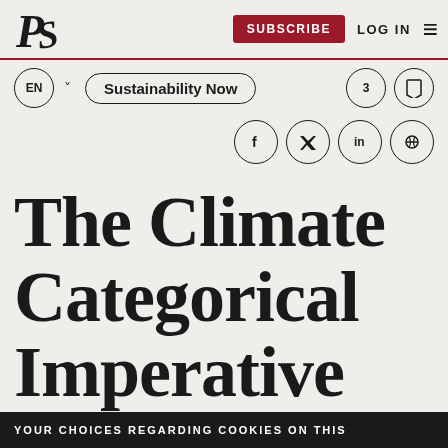PS | SUBSCRIBE | LOG IN
Sustainability Now
[Figure (other): Social share icons: Facebook, Twitter, LinkedIn, link]
The Climate Categorical Imperative
YOUR CHOICES REGARDING COOKIES ON THIS